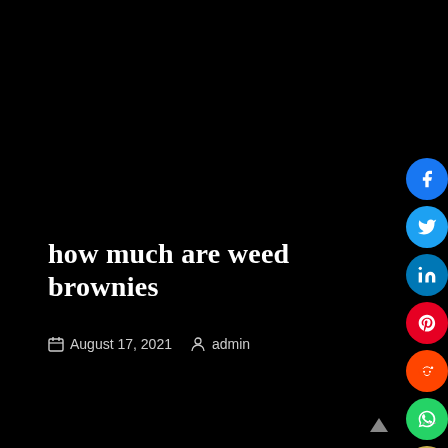how much are weed brownies
August 17, 2021   admin
[Figure (other): Social media share buttons: Facebook, Twitter, LinkedIn, Pinterest, Reddit, WhatsApp, Email — displayed as colored circular icons on the right edge of the page]